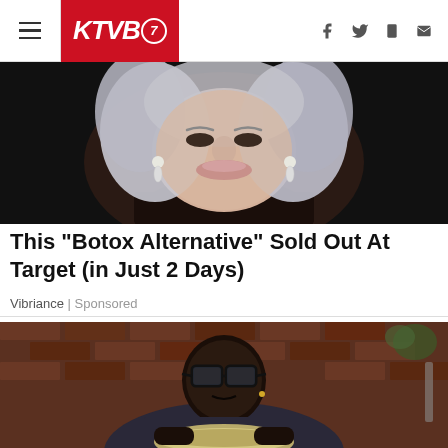KTVB7
[Figure (photo): Close-up photo of an older woman with silver-gray hair and pearl drop earrings, wearing a dark top]
This "Botox Alternative" Sold Out At Target (in Just 2 Days)
Vibriance | Sponsored
[Figure (photo): A man wearing large black-framed glasses and a dark dotted shirt, leaning over a bowl or pan, in a kitchen setting with brick wall background]